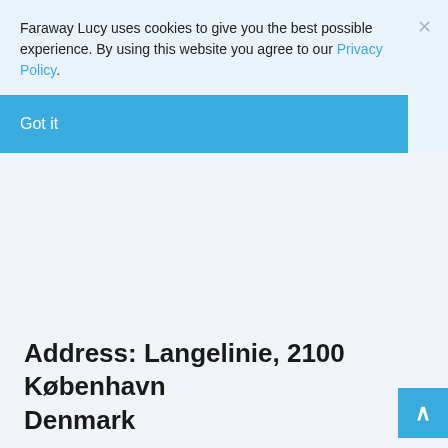Faraway Lucy uses cookies to give you the best possible experience. By using this website you agree to our Privacy Policy.
Got it
Address: Langelinie, 2100 København Denmark